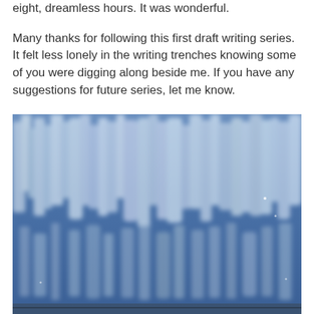eight, dreamless hours. It was wonderful.
Many thanks for following this first draft writing series. It felt less lonely in the writing trenches knowing some of you were digging along beside me. If you have any suggestions for future series, let me know.
[Figure (photo): A blurry blue photograph showing what appears to be a forest or trees with frost or snow on them, taken from a distance. The image has a blue-tinted hue with white vertical streaks suggesting frosted or snow-covered trees. The bottom edge shows what appears to be part of a fence or rail.]